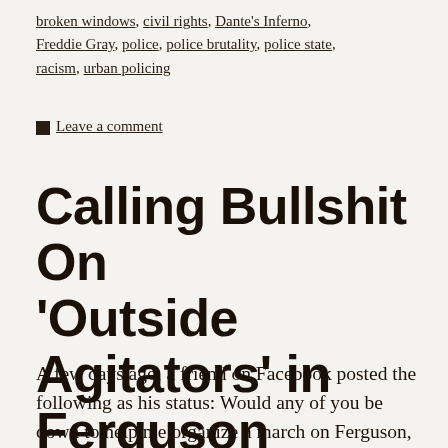broken windows, civil rights, Dante's Inferno, Freddie Gray, police, police brutality, police state, racism, urban policing
Leave a comment
Calling Bullshit On 'Outside Agitators' in Ferguson
A few days ago, a friend on Facebook posted the following as his status: Would any of you be down to help me organize a march on Ferguson, MO? Dead serious. It's something I